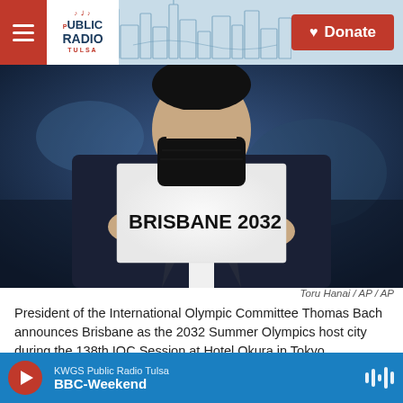Public Radio Tulsa — Donate
[Figure (photo): A man in a dark suit and black face mask holding up a white card reading 'BRISBANE 2032', photographed from below against a blurred background]
Toru Hanai / AP / AP
President of the International Olympic Committee Thomas Bach announces Brisbane as the 2032 Summer Olympics host city during the 138th IOC Session at Hotel Okura in Tokyo, Wednesday, July 21, 2021.
The Associated Press reports the IOC essentially
KWGS Public Radio Tulsa — BBC-Weekend